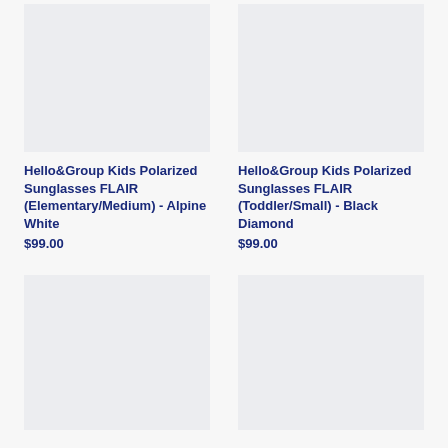[Figure (photo): Product image placeholder for Hello&Group Kids Polarized Sunglasses FLAIR (Elementary/Medium) - Alpine White]
[Figure (photo): Product image placeholder for Hello&Group Kids Polarized Sunglasses FLAIR (Toddler/Small) - Black Diamond]
Hello&Group Kids Polarized Sunglasses FLAIR (Elementary/Medium) - Alpine White
$99.00
Hello&Group Kids Polarized Sunglasses FLAIR (Toddler/Small) - Black Diamond
$99.00
[Figure (photo): Product image placeholder bottom left]
[Figure (photo): Product image placeholder bottom right]